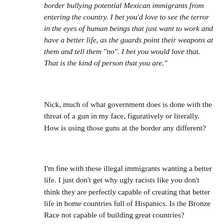border bullying potential Mexican immigrants from entering the country. I bet you'd love to see the terror in the eyes of human beings that just want to work and have a better life, as the guards point their weapons at them and tell them "no". I bet you would love that. That is the kind of person that you are."
Nick, much of what government does is done with the threat of a gun in my face, figuratively or literally. How is using those guns at the border any different?
I'm fine with these illegal immigrants wanting a better life. I just don't get why ugly racists like you don't think they are perfectly capable of creating that better life in home countries full of Hispanics. Is the Bronze Race not capable of building great countries?
AGREE/DISAGREE/ETC.
MORE...
53. Svigor says: June 23, 2014 at 11:08 pm GMT • 8.3 years ago • 300 Words
To ICBR, Does not begin to X one offers one re one